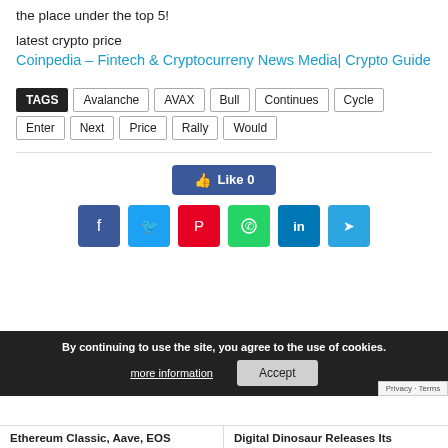the place under the top 5!
latest crypto price
Coinpedia – Fintech & Cryptocurreny News Media| Crypto Guide
TAGS: Avalanche | AVAX | Bull | Continues | Cycle | Enter | Next | Price | Rally | Would
[Figure (infographic): Social sharing buttons: Like button (Facebook, count 0), and row of social icons: Facebook, Twitter, Pinterest, WhatsApp, LinkedIn, Telegram]
By continuing to use the site, you agree to the use of cookies. more information | Accept
Ethereum Classic, Aave, EOS
Digital Dinosaur Releases Its